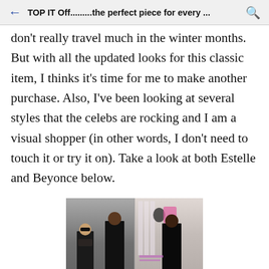TOP IT Off.........the perfect piece for every ...
don't really travel much in the winter months. But with all the updated looks for this classic item, I thinks it's time for me to make another purchase. Also, I've been looking at several styles that the celebs are rocking and I am a visual shopper (in other words, I don't need to touch it or try it on). Take a look at both Estelle and Beyonce below.
[Figure (photo): Photo of two celebrities (Beyonce and Estelle) wearing black outfits. Left side shows Beyonce with sunglasses and a man in black. Right side shows Estelle at what appears to be a press event with banners in the background.]